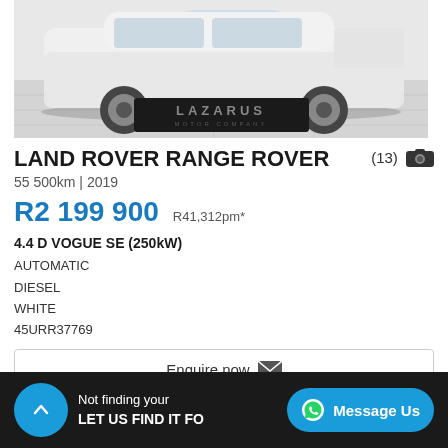[Figure (photo): White Land Rover Range Rover in a showroom with a black Lazarus Motor Company branded floor mat]
LAND ROVER RANGE ROVER
55 500km | 2019
R2 199 900   R41,312pm*
4.4 D VOGUE SE (250kW)
AUTOMATIC
DIESEL
WHITE
45URR37769
Enquire now
Not finding your
LET US FIND IT FO
Message Us